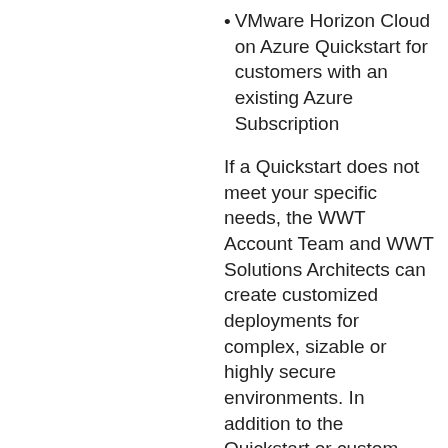VMware Horizon Cloud on Azure Quickstart for customers with an existing Azure Subscription
If a Quickstart does not meet your specific needs, the WWT Account Team and WWT Solutions Architects can create customized deployments for complex, sizable or highly secure environments. In addition to the Quickstart or custom engagements for deployment of VMware Horizon Cloud on Azure, the following subscriptions will be required and included in any design. (WWT can help customers choose the right one for them, purchase and setup any required